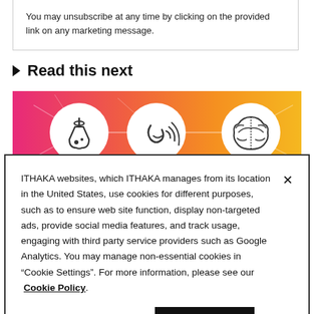You may unsubscribe at any time by clicking on the provided link on any marketing message.
▶ Read this next
[Figure (illustration): Colorful gradient banner (pink to orange to yellow) with three white circular icons: a chemistry flask, a speech/audio symbol with waves, and a brain icon, connected by network lines.]
ITHAKA websites, which ITHAKA manages from its location in the United States, use cookies for different purposes, such as to ensure web site function, display non-targeted ads, provide social media features, and track usage, engaging with third party service providers such as Google Analytics. You may manage non-essential cookies in “Cookie Settings”. For more information, please see our Cookie Policy.
Cookie Settings
OK, proceed